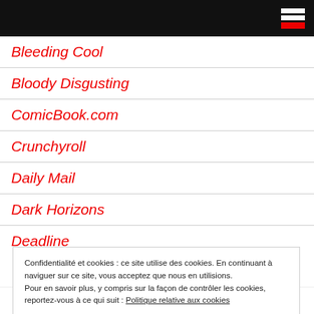[Navigation header bar with hamburger menu icon]
Bleeding Cool
Bloody Disgusting
ComicBook.com
Crunchyroll
Daily Mail
Dark Horizons
Deadline
Confidentialité et cookies : ce site utilise des cookies. En continuant à naviguer sur ce site, vous acceptez que nous en utilisions. Pour en savoir plus, y compris sur la façon de contrôler les cookies, reportez-vous à ce qui suit : Politique relative aux cookies
Fermer et accepter
Claude Monosiet on Poursuis tes rêves: la